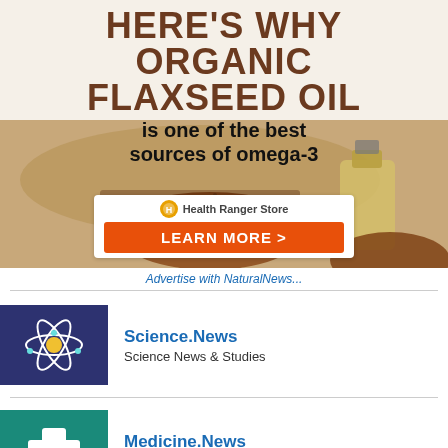[Figure (infographic): Health Ranger Store advertisement for Organic Flaxseed Oil — 'Here's Why Organic Flaxseed Oil is one of the best sources of omega-3' with flaxseed photo and Learn More button]
Advertise with NaturalNews...
[Figure (logo): Science.News logo — dark navy background with atom/molecule icon]
Science.News
Science News & Studies
[Figure (logo): Medicine.News logo — teal background with white cross and green leaf icon]
Medicine.News
Medicine News and Information